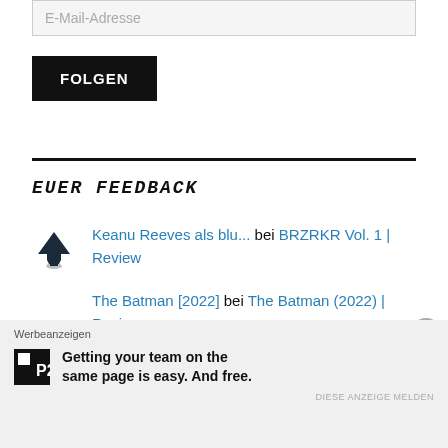E-Mail-Adresse
FOLGEN
EUER FEEDBACK
Keanu Reeves als blu... bei BRZRKR Vol. 1 | Review
The Batman [2022] bei The Batman (2022) | Review
Werbeanzeigen
Getting your team on the same page is easy. And free.
DIESE ANZEIGE MELDEN